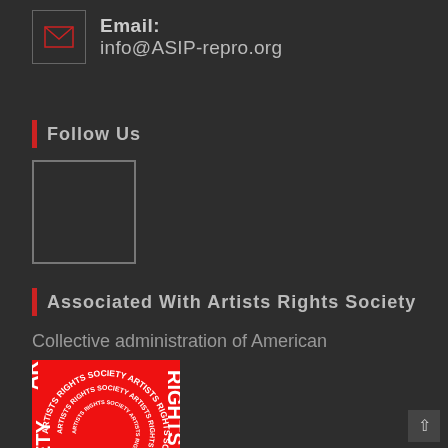Email: info@ASIP-repro.org
Follow Us
[Figure (other): Social media icon placeholder box (empty square outline)]
Associated With Artists Rights Society
Collective administration of American illustrators' secondary rights
[Figure (logo): Artists Rights Society red square logo with circular text reading ARTISTS RIGHTS SOCIETY repeated around a central circle, white text on red background]